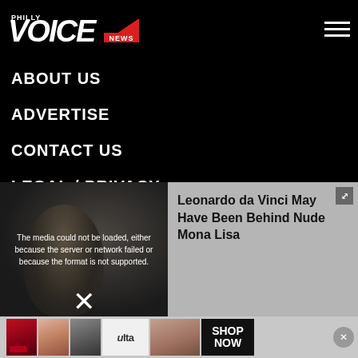Philly Voice NEWS
ABOUT US
ADVERTISE
CONTACT US
LEGAL / PRIVACY
STAFF / CONTRIBUTORS
RSS
[Figure (photo): Mona Lisa photo with media error overlay and article preview panel showing 'Leonardo da Vinci May Have Been Behind Nude Mona Lisa']
[Figure (screenshot): ULTA beauty advertisement banner with makeup images and SHOP NOW button]